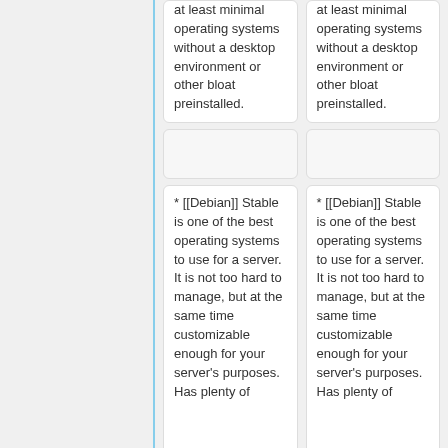at least minimal operating systems without a desktop environment or other bloat preinstalled.
at least minimal operating systems without a desktop environment or other bloat preinstalled.
* [[Debian]] Stable is one of the best operating systems to use for a server. It is not too hard to manage, but at the same time customizable enough for your server's purposes. Has plenty of
* [[Debian]] Stable is one of the best operating systems to use for a server. It is not too hard to manage, but at the same time customizable enough for your server's purposes. Has plenty of